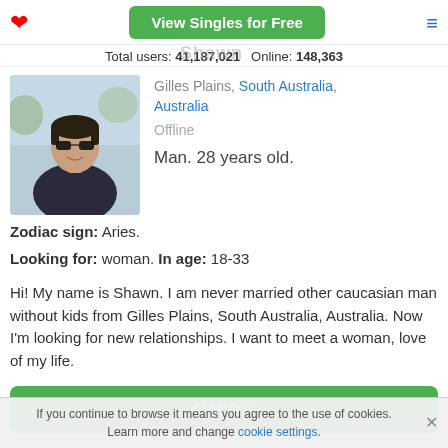View Singles for Free
Total users: 41,187,021   Online: 148,363
[Figure (photo): Profile photo of a young man wearing sunglasses, selfie style]
Gilles Plains, South Australia, Australia
Offline
Man. 28 years old.
Zodiac sign: Aries.
Looking for: woman. In age: 18-33
Hi! My name is Shawn. I am never married other caucasian man without kids from Gilles Plains, South Australia, Australia. Now I'm looking for new relationships. I want to meet a woman, love of my life.
CHAT
If you continue to browse it means you agree to the use of cookies. Learn more and change cookie settings.